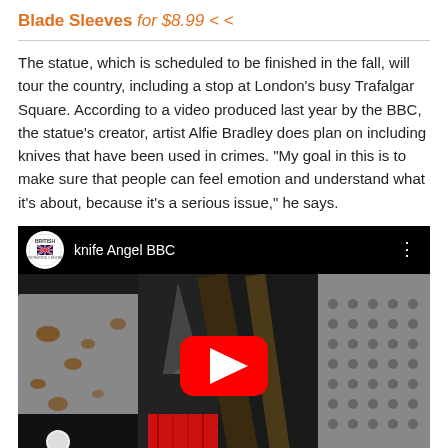Blade Sleeves for $8.99 < <
The statue, which is scheduled to be finished in the fall, will tour the country, including a stop at London's busy Trafalgar Square. According to a video produced last year by the BBC, the statue's creator, artist Alfie Bradley does plan on including knives that have been used in crimes. "My goal in this is to make sure that people can feel emotion and understand what it's about, because it's a serious issue," he says.
[Figure (screenshot): Embedded YouTube video thumbnail showing close-up of various knives with black handles and rusted/metallic blades. Video title reads 'knife Angel BBC' with British Ironwork Centre channel logo. Red YouTube play button in center.]